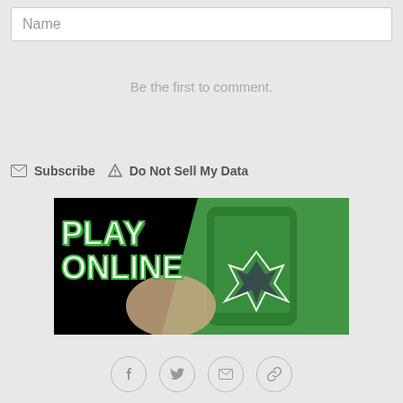Name
Be the first to comment.
Subscribe  Do Not Sell My Data
[Figure (photo): Advertisement banner with 'PLAY ONLINE' text and a hand holding a smartphone showing an Eagles logo on a green background.]
[Figure (infographic): Social media share icons: Facebook, Twitter, Email, Link]